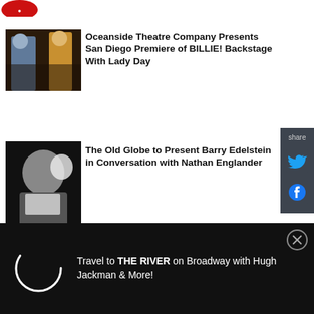[Figure (logo): Red logo (partially visible) at top left]
[Figure (photo): Theatre production photo showing two figures on dark stage]
Oceanside Theatre Company Presents San Diego Premiere of BILLIE! Backstage With Lady Day
[Figure (photo): Portrait photo of Barry Edelstein against dark background]
The Old Globe to Present Barry Edelstein in Conversation with Nathan Englander
[Figure (photo): Partial face photo with dark blue background]
TUESDAY NIGHT COMICS
[Figure (infographic): Share sidebar with Twitter and Facebook icons on dark background]
[Figure (infographic): Black ad banner with loading spinner circle and text: Travel to THE RIVER on Broadway with Hugh Jackman & More!]